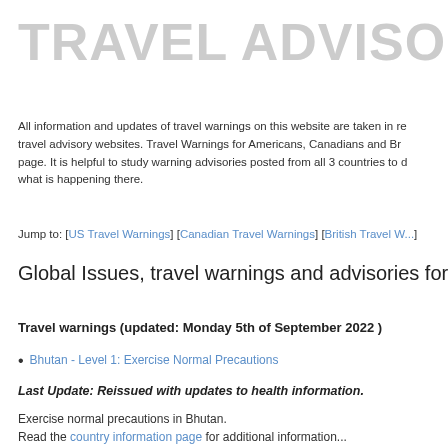TRAVEL ADVISORY WARNI
All information and updates of travel warnings on this website are taken in reference to official travel advisory websites. Travel Warnings for Americans, Canadians and Br... page. It is helpful to study warning advisories posted from all 3 countries to determine what is happening there.
Jump to: [US Travel Warnings] [Canadian Travel Warnings] [British Travel W...
Global Issues, travel warnings and advisories for A...
Travel warnings (updated: Monday 5th of September 2022 )
Bhutan - Level 1: Exercise Normal Precautions
Last Update: Reissued with updates to health information.
Exercise normal precautions in Bhutan.
Read the country information page for additional information...
Senegal - Level 1: Exercise Normal Precautions
Last Update: Reissued with updates to health information.